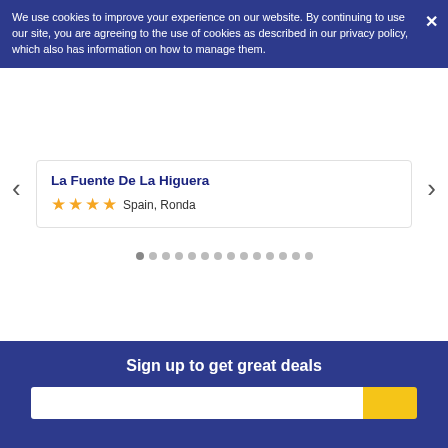We use cookies to improve your experience on our website. By continuing to use our site, you are agreeing to the use of cookies as described in our privacy policy, which also has information on how to manage them.
[Figure (other): Carousel image area with left and right navigation arrows and hotel card overlay. Hotel: La Fuente De La Higuera, 4 stars, Spain, Ronda. Pagination dots below.]
Sign up to get great deals